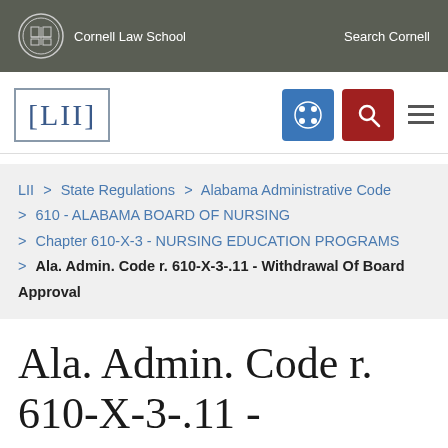Cornell Law School | Search Cornell
[Figure (logo): LII Legal Information Institute logo with navigation icons]
LII > State Regulations > Alabama Administrative Code > 610 - ALABAMA BOARD OF NURSING > Chapter 610-X-3 - NURSING EDUCATION PROGRAMS > Ala. Admin. Code r. 610-X-3-.11 - Withdrawal Of Board Approval
Ala. Admin. Code r. 610-X-3-.11 -